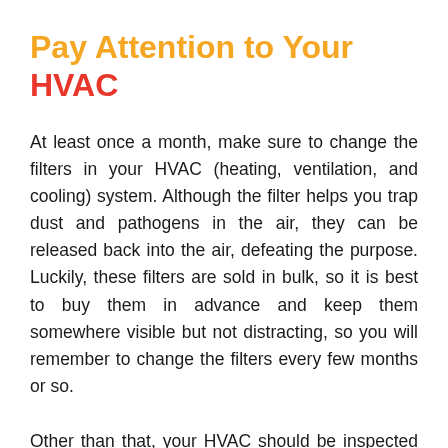Pay Attention to Your HVAC
At least once a month, make sure to change the filters in your HVAC (heating, ventilation, and cooling) system. Although the filter helps you trap dust and pathogens in the air, they can be released back into the air, defeating the purpose. Luckily, these filters are sold in bulk, so it is best to buy them in advance and keep them somewhere visible but not distracting, so you will remember to change the filters every few months or so.
Other than that, your HVAC should be inspected by a professional technician regu...